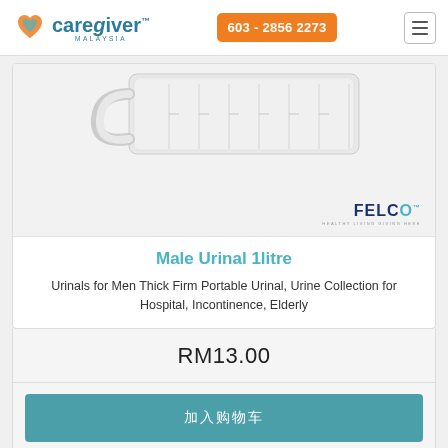[Figure (logo): Caregiver Malaysia logo with heart icon and orange phone button 603-2856 2273]
[Figure (photo): Male urinal 1 litre product photo - white plastic urinal with measurement markings, on grey background. FELCO brand logo in bottom right corner.]
Male Urinal 1litre
Urinals for Men Thick Firm Portable Urinal, Urine Collection for Hospital, Incontinence, Elderly
RM13.00
加入购物车